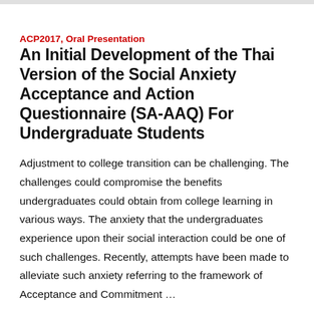ACP2017, Oral Presentation
An Initial Development of the Thai Version of the Social Anxiety Acceptance and Action Questionnaire (SA-AAQ) For Undergraduate Students
Adjustment to college transition can be challenging. The challenges could compromise the benefits undergraduates could obtain from college learning in various ways. The anxiety that the undergraduates experience upon their social interaction could be one of such challenges. Recently, attempts have been made to alleviate such anxiety referring to the framework of Acceptance and Commitment …